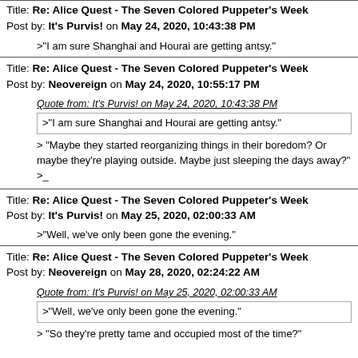Title: Re: Alice Quest - The Seven Colored Puppeter's Week
Post by: It's Purvis! on May 24, 2020, 10:43:38 PM
>"I am sure Shanghai and Hourai are getting antsy."
Title: Re: Alice Quest - The Seven Colored Puppeter's Week
Post by: Neovereign on May 24, 2020, 10:55:17 PM
Quote from: It's Purvis! on May 24, 2020, 10:43:38 PM
>"I am sure Shanghai and Hourai are getting antsy."
> "Maybe they started reorganizing things in their boredom? Or maybe they're playing outside. Maybe just sleeping the days away?"
>_
Title: Re: Alice Quest - The Seven Colored Puppeter's Week
Post by: It's Purvis! on May 25, 2020, 02:00:33 AM
>"Well, we've only been gone the evening."
Title: Re: Alice Quest - The Seven Colored Puppeter's Week
Post by: Neovereign on May 28, 2020, 02:24:22 AM
Quote from: It's Purvis! on May 25, 2020, 02:00:33 AM
>"Well, we've only been gone the evening."
> "So they're pretty tame and occupied most of the time?"